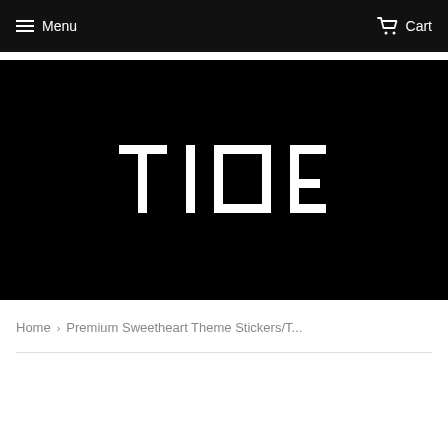Menu  Cart
[Figure (logo): TINE brand logo in white sans-serif lettering on black background]
Home › Premium Sweetheart Theme Stickers/T...